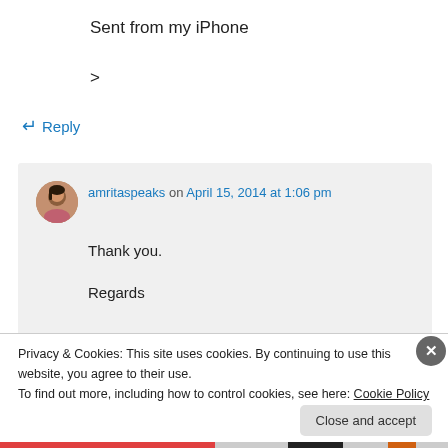Sent from my iPhone
>
↵ Reply
amritaspeaks on April 15, 2014 at 1:06 pm
Thank you.
Regards
Privacy & Cookies: This site uses cookies. By continuing to use this website, you agree to their use.
To find out more, including how to control cookies, see here: Cookie Policy
Close and accept